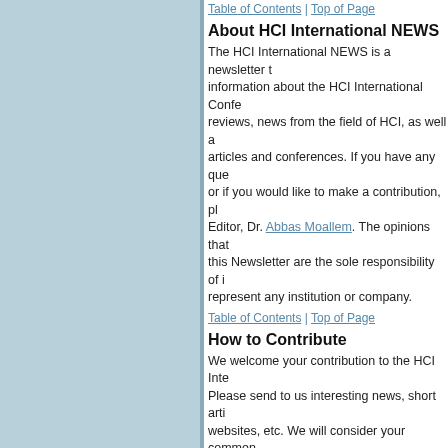Table of Contents | Top of Page
About HCI International NEWS
The HCI International NEWS is a newsletter that provides information about the HCI International Conference, book reviews, news from the field of HCI, as well as links to articles and conferences. If you have any questions, or if you would like to make a contribution, please contact the Editor, Dr. Abbas Moallem. The opinions that appear in this Newsletter are the sole responsibility of its authors and do not represent any institution or company.
Table of Contents | Top of Page
How to Contribute
We welcome your contribution to the HCI International NEWS. Please send to us interesting news, short articles, links to websites, etc. We will consider your comments and materials for upcoming issues. Please send your contributions to Dr.Abbas Moallem.
Table of Contents | Top of Page
Previous Issues
All previous issues of HCI International NEWS are available online. www.hci.international/news
Table of Contents | Top of Page